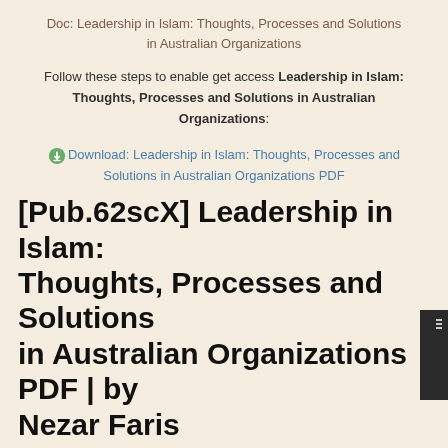Doc: Leadership in Islam: Thoughts, Processes and Solutions in Australian Organizations
Follow these steps to enable get access Leadership in Islam: Thoughts, Processes and Solutions in Australian Organizations:
Download: Leadership in Islam: Thoughts, Processes and Solutions in Australian Organizations PDF
[Pub.62scX] Leadership in Islam: Thoughts, Processes and Solutions in Australian Organizations PDF | by Nezar Faris